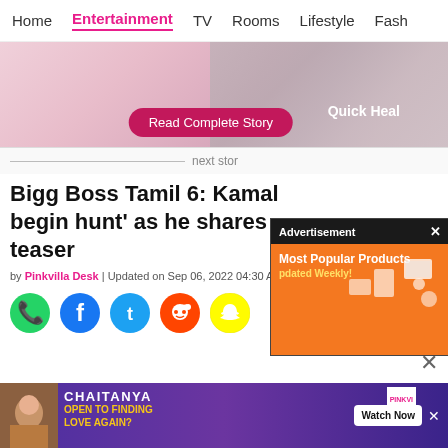Home | Entertainment | TV | Rooms | Lifestyle | Fash
[Figure (photo): Hero image with pink/rose toned background, 'Quick Heal' overlay text and 'Read Complete Story' pink button]
next stor
Bigg Boss Tamil 6: Kamal begin hunt' as he shares teaser
by Pinkvilla Desk | Updated on Sep 06, 2022 04:30 AM IST | 10.3K
[Figure (infographic): Social sharing icons: WhatsApp (green), Facebook (blue), Twitter (blue), Reddit (orange), Snapchat (yellow)]
[Figure (screenshot): Advertisement overlay with black header showing 'Advertisement x', orange background with 'Most Popular Products Updated Weekly!' text and product icons]
[Figure (screenshot): Bottom banner ad: purple background with person image, 'CHAITANYA', 'OPEN TO FINDING LOVE AGAIN?' text, PINKVI logo, Watch Now button]